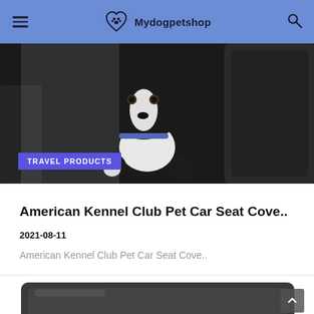Mydogpetshop
[Figure (photo): Black and white dog (border collie) sitting in the back seat of a car, with a TRAVEL PRODUCTS badge overlaid at the bottom left]
American Kennel Club Pet Car Seat Cove..
2021-08-11
American Kennel Club Pet Car Seat Cove..
[Figure (photo): Dark gray/black pet car seat cover product, partially visible at the bottom of the page]